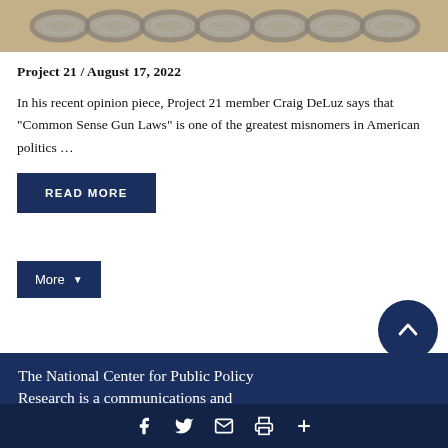[Figure (photo): Photograph of metal chain links on a light background, cropped to show upper portion]
Project 21 / August 17, 2022
In his recent opinion piece, Project 21 member Craig DeLuz says that “Common Sense Gun Laws” is one of the greatest misnomers in American politics …
READ MORE
More
The National Center for Public Policy Research is a communications and